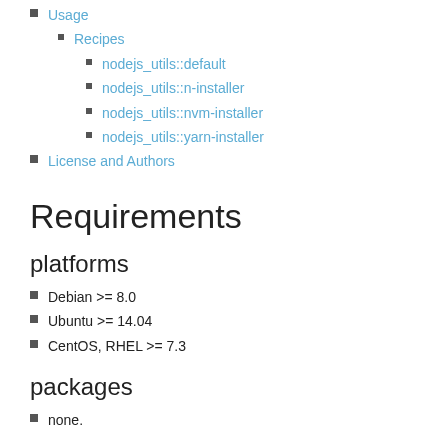Usage
Recipes
nodejs_utils::default
nodejs_utils::n-installer
nodejs_utils::nvm-installer
nodejs_utils::yarn-installer
License and Authors
Requirements
platforms
Debian >= 8.0
Ubuntu >= 14.04
CentOS, RHEL >= 7.3
packages
none.
cookbooks
none.